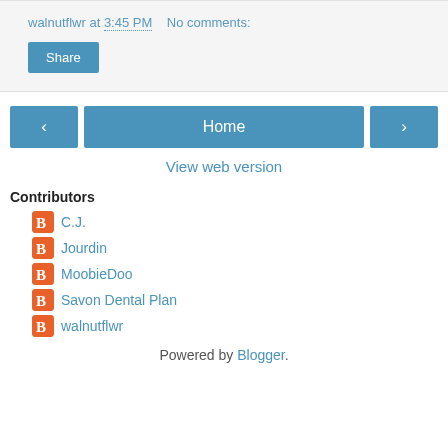walnutflwr at 3:45 PM   No comments:
Share
< Home >
View web version
Contributors
C.J.
Jourdin
MoobieDoo
Savon Dental Plan
walnutflwr
Powered by Blogger.